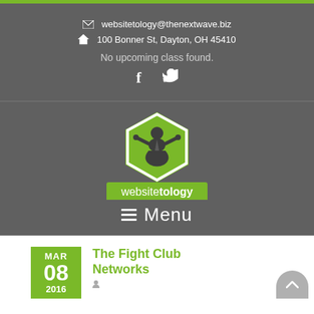websitetology@thenextwave.biz
100 Bonner St, Dayton, OH 45410
No upcoming class found.
[Figure (logo): Websitetology logo - hexagon with seated figure in suit, green background bar with 'websitetology' text]
Menu
The Fight Club Networks
MAR 08 2016